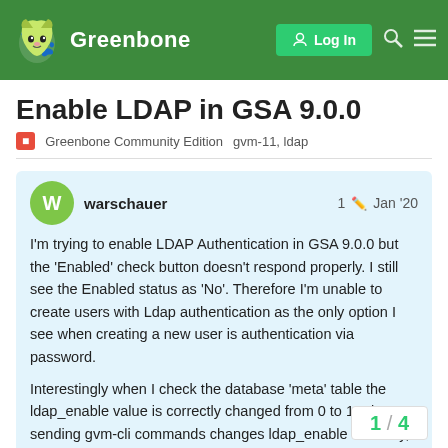Greenbone — Log In
Enable LDAP in GSA 9.0.0
Greenbone Community Edition   gvm-11, ldap
warschauer   1  Jan '20
I'm trying to enable LDAP Authentication in GSA 9.0.0 but the 'Enabled' check button doesn't respond properly. I still see the Enabled status as 'No'. Therefore I'm unable to create users with Ldap authentication as the only option I see when creating a new user is authentication via password.

Interestingly when I check the database 'meta' table the ldap_enable value is correctly changed from 0 to 1. Also, sending gvm-cli commands changes ldap_enable correctly, so I think the functionality itself is fine.

Anyone encountered a similar problem? I d
1 / 4